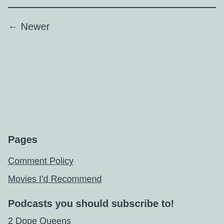← Newer
Pages
Comment Policy
Movies I'd Recommend
Podcasts you should subscribe to!
2 Dope Queens